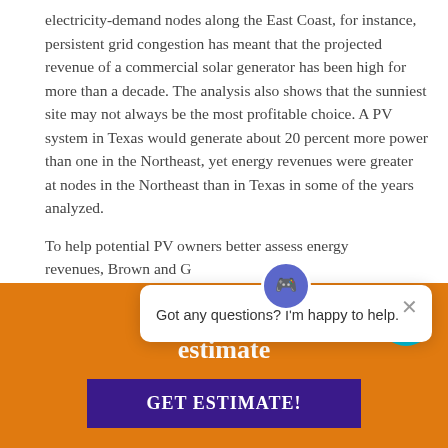electricity-demand nodes along the East Coast, for instance, persistent grid congestion has meant that the projected revenue of a commercial solar generator has been high for more than a decade. The analysis also shows that the sunniest site may not always be the most profitable choice. A PV system in Texas would generate about 20 percent more power than one in the Northeast, yet energy revenues were greater at nodes in the Northeast than in Texas in some of the years analyzed.
To help potential PV owners better assess energy revenues, Brown and G...
[Figure (infographic): Orange banner with text 'Get an instant estimate' and a purple 'GET ESTIMATE!' button, plus a chat bot popup saying 'Got any questions? I'm happy to help.']